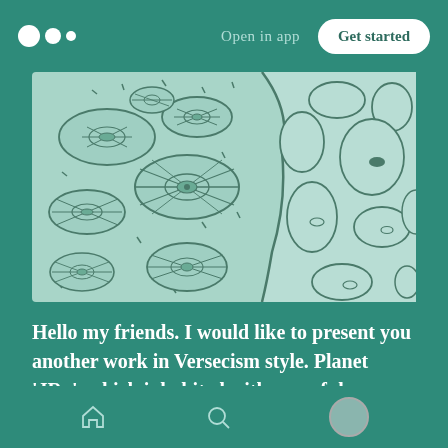Open in app | Get started
[Figure (illustration): A scientific/artistic illustration in Versecism style showing alien organisms — left side features oval cell-like creatures with internal spiral/flower patterns on a light teal background with small dashes; right side shows rounded stone-like shapes with small oval marks, separated by a curved boundary line suggesting two different environments or tissues.]
Hello my friends. I would like to present you another work in Versecism style. Planet ‘JRx’, which inhabited with peaceful creatures.
I’ll tell you a secret, every time I draw, I
Home | Search | Profile